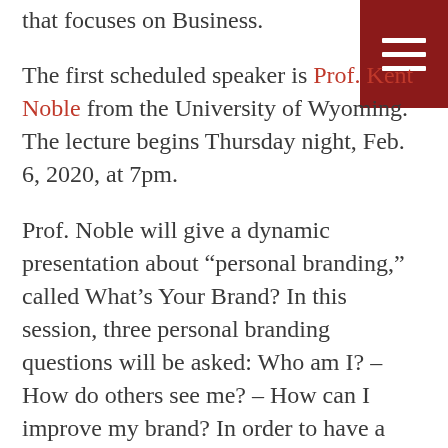[Figure (other): Dark red hamburger menu button in top right corner with three white horizontal lines]
that focuses on Business.
The first scheduled speaker is Prof. Kent Noble from the University of Wyoming. The lecture begins Thursday night, Feb. 6, 2020, at 7pm.
Prof. Noble will give a dynamic presentation about “personal branding,” called What’s Your Brand? In this session, three personal branding questions will be asked: Who am I? – How do others see me? – How can I improve my brand? In order to have a great brand, you need to be known for your integrity, a positive attitude, and grit!
Briefly, the program starts with a quick self